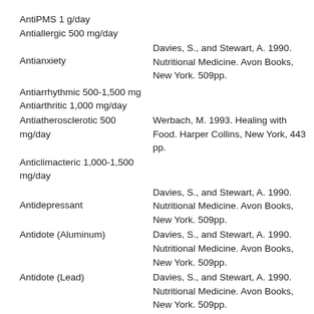AntiPMS 1 g/day
Antiallergic 500 mg/day
Antianxiety
Davies, S., and Stewart, A. 1990. Nutritional Medicine. Avon Books, New York. 509pp.
Antiarrhythmic 500-1,500 mg
Antiarthritic 1,000 mg/day
Antiatherosclerotic 500 mg/day
Werbach, M. 1993. Healing with Food. Harper Collins, New York, 443 pp.
Anticlimacteric 1,000-1,500 mg/day
Antidepressant
Davies, S., and Stewart, A. 1990. Nutritional Medicine. Avon Books, New York. 509pp.
Antidote (Aluminum)
Davies, S., and Stewart, A. 1990. Nutritional Medicine. Avon Books, New York. 509pp.
Antidote (Lead)
Davies, S., and Stewart, A. 1990. Nutritional Medicine. Avon Books, New York. 509pp.
Antihyperkinetic
Davies, S., and Stewart, A. 1990. Nutritional Medicine. Avon Books, New...